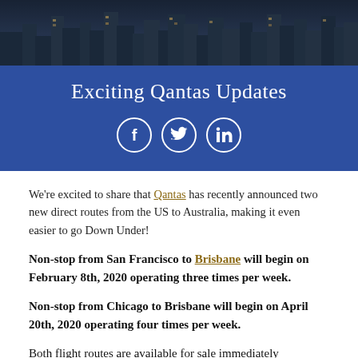[Figure (photo): Aerial city skyline photo showing dense urban buildings at dusk]
Exciting Qantas Updates
[Figure (infographic): Three social media icon circles: Facebook, Twitter, LinkedIn on blue background]
We're excited to share that Qantas has recently announced two new direct routes from the US to Australia, making it even easier to go Down Under!
Non-stop from San Francisco to Brisbane will begin on February 8th, 2020 operating three times per week.
Non-stop from Chicago to Brisbane will begin on April 20th, 2020 operating four times per week.
Both flight routes are available for sale immediately